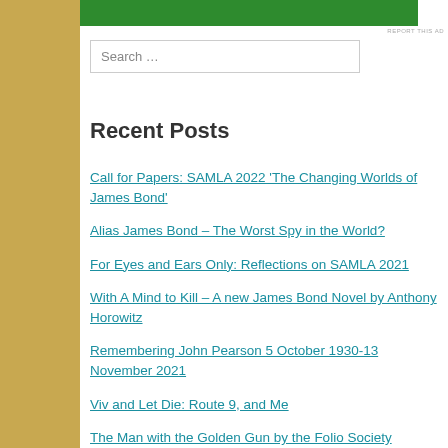[Figure (other): Green advertisement banner at top of white panel]
REPORT THIS AD
Search …
Recent Posts
Call for Papers: SAMLA 2022 'The Changing Worlds of James Bond'
Alias James Bond – The Worst Spy in the World?
For Eyes and Ears Only: Reflections on SAMLA 2021
With A Mind to Kill – A new James Bond Novel by Anthony Horowitz
Remembering John Pearson 5 October 1930-13 November 2021
Viv and Let Die: Route 9, and Me
The Man with the Golden Gun by the Folio Society
Bond Behind the Iron Curtain
The Origins of the 007 Bo…